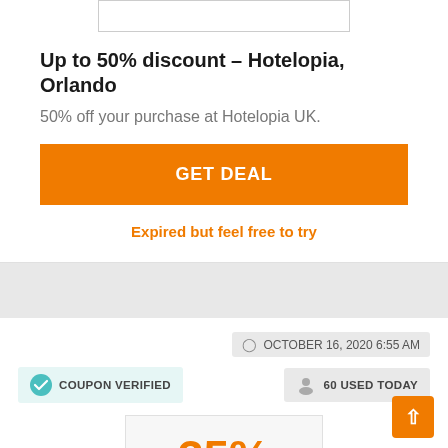Up to 50% discount – Hotelopia, Orlando
50% off your purchase at Hotelopia UK.
GET DEAL
Expired but feel free to try
OCTOBER 16, 2020 6:55 AM
COUPON VERIFIED
60 USED TODAY
35% OFF